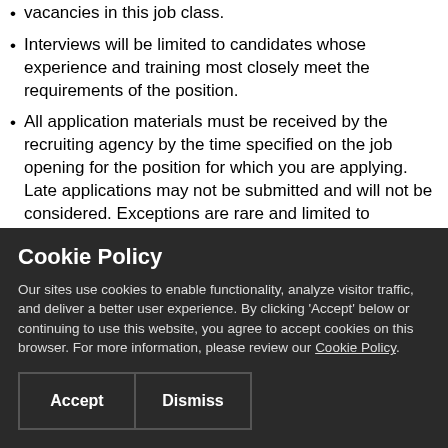vacancies in this job class.
Interviews will be limited to candidates whose experience and training most closely meet the requirements of the position.
All application materials must be received by the recruiting agency by the time specified on the job opening for the position for which you are applying. Late applications may not be submitted and will not be considered. Exceptions are rare and limited to documented events that incapacitate a candidate during the entire duration of the job posting time
Cookie Policy
Our sites use cookies to enable functionality, analyze visitor traffic, and deliver a better user experience. By clicking 'Accept' below or continuing to use this website, you agree to accept cookies on this browser. For more information, please review our Cookie Policy.
Accept   Dismiss